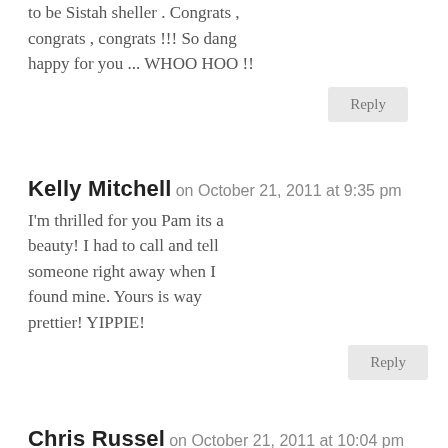found mine in YES !! It was meant to be Sistah sheller . Congrats , congrats , congrats !!! So dang happy for you ... WHOO HOO !!
Reply
Kelly Mitchell on October 21, 2011 at 9:35 pm
I'm thrilled for you Pam its a beauty! I had to call and tell someone right away when I found mine. Yours is way prettier! YIPPIE!
Reply
Chris Russel on October 21, 2011 at 10:04 pm
Congrats! I am jealous :)